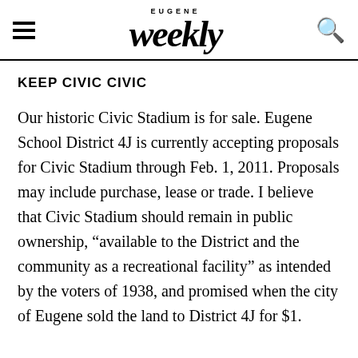Eugene Weekly
KEEP CIVIC CIVIC
Our historic Civic Stadium is for sale. Eugene School District 4J is currently accepting proposals for Civic Stadium through Feb. 1, 2011. Proposals may include purchase, lease or trade. I believe that Civic Stadium should remain in public ownership, “available to the District and the community as a recreational facility” as intended by the voters of 1938, and promised when the city of Eugene sold the land to District 4J for $1.